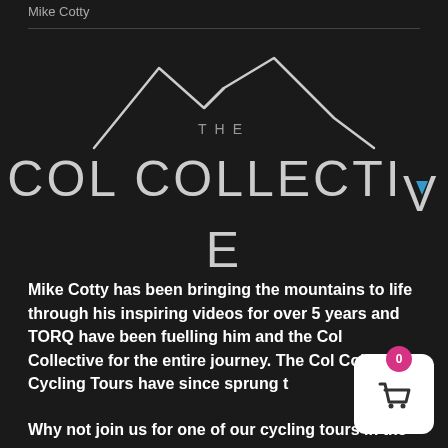Mike Cotty
[Figure (logo): The Col Collective logo — white mountain outline SVG with text 'THE COL COLLECTIVE' where V in COLLECTIVE contains a blue chevron accent]
Mike Cotty has been bringing the mountains to life through his inspiring videos for over 5 years and TORQ have been fuelling him and the Col Collective for the entire journey. The Col Collective Cycling Tours have since sprung t
Why not join us for one of our cycling tours in the